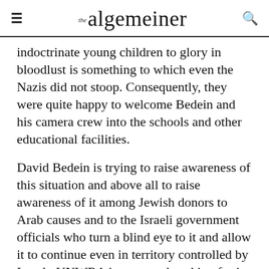the algemeiner
indoctrinate young children to glory in bloodlust is something to which even the Nazis did not stoop. Consequently, they were quite happy to welcome Bedein and his camera crew into the schools and other educational facilities.
David Bedein is trying to raise awareness of this situation and above all to raise awareness of it among Jewish donors to Arab causes and to the Israeli government officials who turn a blind eye to it and allow it to continue even in territory controlled by Israel.  UNWRA is apparently asking for its budget to be doubled, and he is determined that its true motives are known to those to whom the organization is extending its begging bowl. He